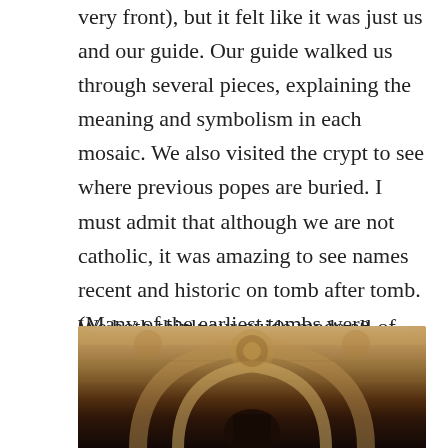very front), but it felt like it was just us and our guide. Our guide walked us through several pieces, explaining the meaning and symbolism in each mosaic. We also visited the crypt to see where previous popes are buried. I must admit that although we are not catholic, it was amazing to see names recent and historic on tomb after tomb. (Many of the earliest tombs were destroyed long ago.)
We both think our guide made all of this come alive for us. He was more than just knowledgeable, perhaps trained for a religious vocation in an earlier career? As we were leaving St. Peter's he pointed out one final mosaic in the portico which purports to tell visitors there is more work to do for God as they leave the physical confines of St. Peter's.
[Figure (photo): Bottom portion of a photo showing an ornate architectural mosaic or fresco with arched stonework in warm golden and brown tones, partially cropped at the bottom of the page.]